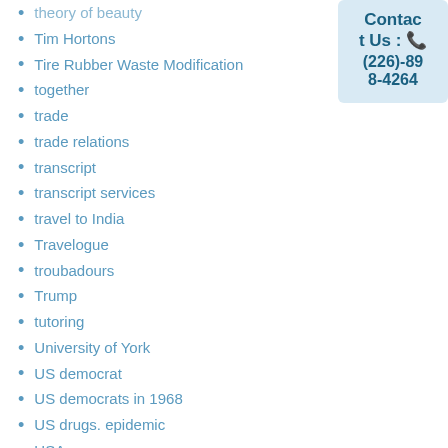theory of beauty
Tim Hortons
Tire Rubber Waste Modification
together
trade
trade relations
transcript
transcript services
travel to India
Travelogue
troubadours
Trump
tutoring
University of York
US democrat
US democrats in 1968
US drugs. epidemic
USA
Contact Us : (226)-898-4264